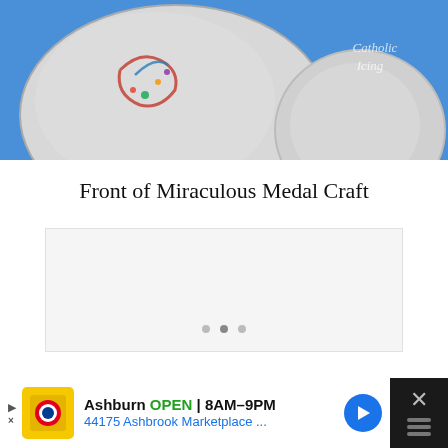[Figure (photo): Photo of two handmade Miraculous Medal crafts on a blue background. The medals appear to be made of silver/clear material with colorful decorations. Watermark text reads 'Catholic Icing' in italic script on the right side.]
Front of Miraculous Medal Craft
[Figure (photo): A light gray content/image box, likely a slideshow or embedded content area with navigation dots at the bottom.]
[Figure (screenshot): Advertisement bar at bottom: Lidl store ad showing 'Ashburn OPEN 8AM–9PM 44175 Ashbrook Marketplace ...' with a navigation arrow icon and a close (X) button on the right.]